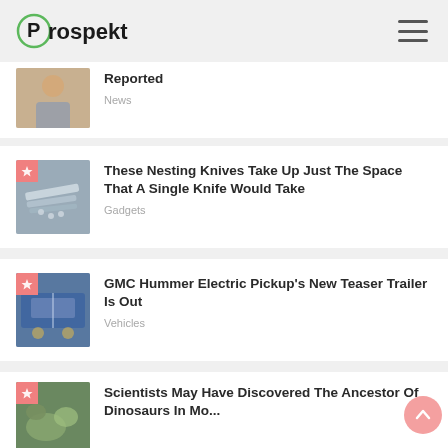Prospekt
Reported
News
These Nesting Knives Take Up Just The Space That A Single Knife Would Take
Gadgets
GMC Hummer Electric Pickup's New Teaser Trailer Is Out
Vehicles
Scientists May Have Discovered The Ancestor Of Dinosaurs In Mo...